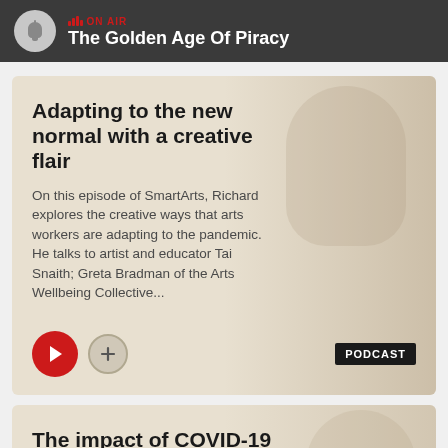ON AIR — The Golden Age Of Piracy
Adapting to the new normal with a creative flair
On this episode of SmartArts, Richard explores the creative ways that arts workers are adapting to the pandemic. He talks to artist and educator Tai Snaith; Greta Bradman of the Arts Wellbeing Collective...
PODCAST
The impact of COVID-19 on the arts sector